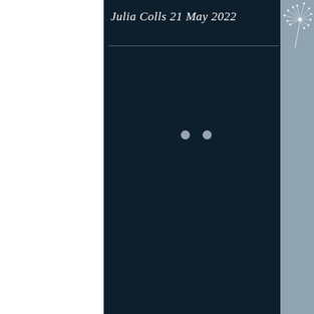Julia Colls 21 May 2022
[Figure (illustration): Dandelion seed illustration in top-right corner on grey panel]